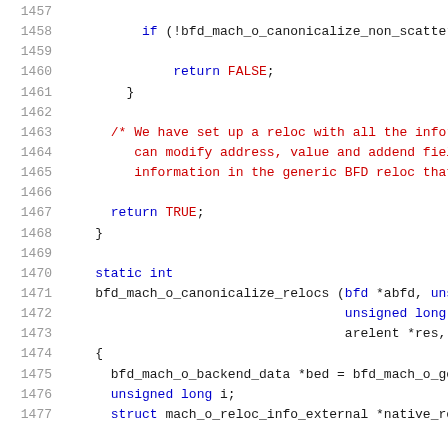Source code listing lines 1457-1477, C language code involving bfd_mach_o functions